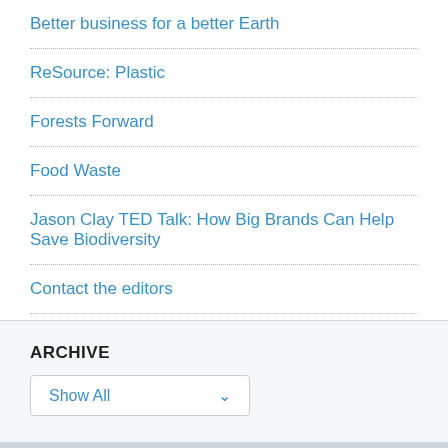Better business for a better Earth
ReSource: Plastic
Forests Forward
Food Waste
Jason Clay TED Talk: How Big Brands Can Help Save Biodiversity
Contact the editors
ARCHIVE
Show All